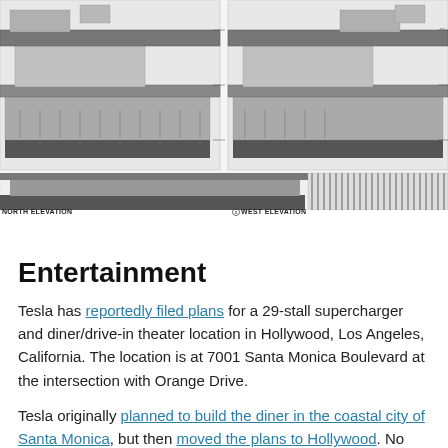[Figure (engineering-diagram): Architectural elevation drawings of a Tesla supercharger and diner/drive-in theater building. Top row shows North Elevation (left) and West Elevation (right) drawings with detailed architectural annotations. Bottom portion shows a larger elevation drawing with vertical fin elements on the right side, plan view measurements, and landscape elements.]
NORTH ELEVATION
WEST ELEVATION
Entertainment
Tesla has reportedly filed plans for a 29-stall supercharger and diner/drive-in theater location in Hollywood, Los Angeles, California. The location is at 7001 Santa Monica Boulevard at the intersection with Orange Drive.
Tesla originally planned to build the diner in the coastal city of Santa Monica, but then moved the plans to Hollywood. No one knows a little more fair in last at of